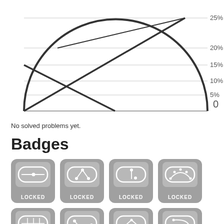[Figure (continuous-plot): Partial spider/radar chart showing percentage axis labels 25%, 20%, 15%, 10%, 5% on right side and a '0' label, with dark arc and lines visible at top of page (cropped)]
No solved problems yet.
Badges
[Figure (infographic): Grid of 12 locked badge icons on gray rounded-rectangle backgrounds, each showing a graph/network icon in white and labeled LOCKED]